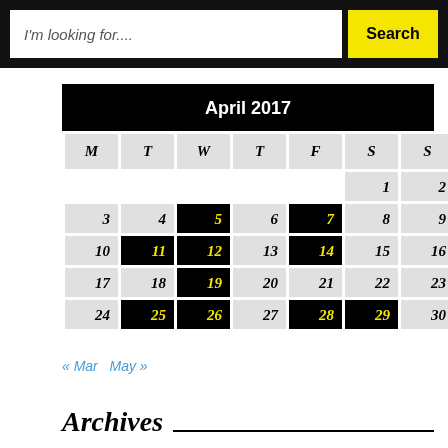[Figure (screenshot): Search bar with text input placeholder 'I'm looking for....' and yellow Search button]
| M | T | W | T | F | S | S |
| --- | --- | --- | --- | --- | --- | --- |
|  |  |  |  |  | 1 | 2 |
| 3 | 4 | 5 | 6 | 7 | 8 | 9 |
| 10 | 11 | 12 | 13 | 14 | 15 | 16 |
| 17 | 18 | 19 | 20 | 21 | 22 | 23 |
| 24 | 25 | 26 | 27 | 28 | 29 | 30 |
« Mar   May »
Archives